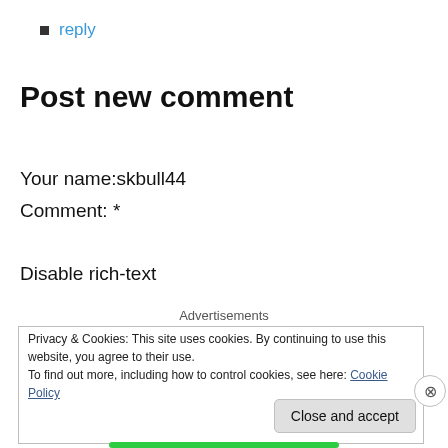reply
Post new comment
Your name:skbull44
Comment: *
Disable rich-text
Advertisements
Privacy & Cookies: This site uses cookies. By continuing to use this website, you agree to their use.
To find out more, including how to control cookies, see here: Cookie Policy
Close and accept